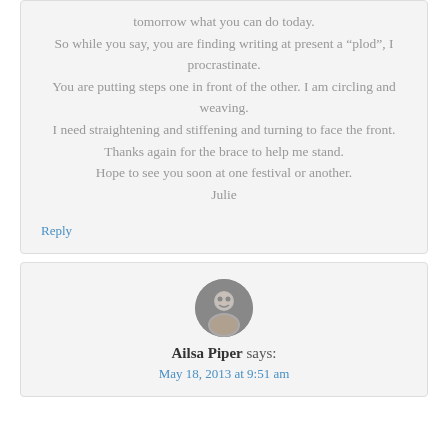tomorrow what you can do today. So while you say, you are finding writing at present a “plod”, I procrastinate. You are putting steps one in front of the other. I am circling and weaving. I need straightening and stiffening and turning to face the front. Thanks again for the brace to help me stand. Hope to see you soon at one festival or another. Julie
Reply
[Figure (photo): Circular avatar photo of Ailsa Piper, a woman with light hair]
Ailsa Piper says:
May 18, 2013 at 9:51 am